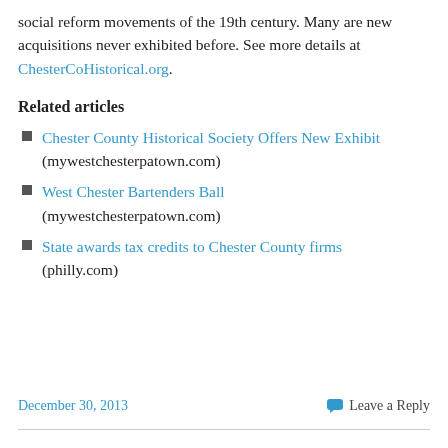social reform movements of the 19th century. Many are new acquisitions never exhibited before. See more details at ChesterCoHistorical.org.
Related articles
Chester County Historical Society Offers New Exhibit (mywestchesterpatown.com)
West Chester Bartenders Ball (mywestchesterpatown.com)
State awards tax credits to Chester County firms (philly.com)
December 30, 2013   Leave a Reply